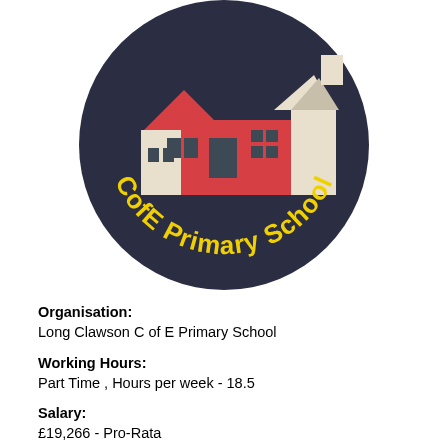[Figure (logo): Round dark navy blue circle logo with a stylized illustration of a red school building with cream/white roof sections and dark grey windows. Yellow curved text along the bottom reads 'CofE Primary School'.]
Organisation:
Long Clawson C of E Primary School
Working Hours:
Part Time , Hours per week - 18.5
Salary:
£19,266 - Pro-Rata